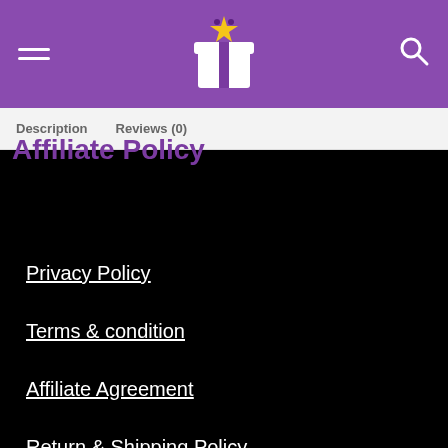Navigation header with hamburger menu, star gift logo, and search icon
Description   Reviews (0)
Affiliate Policy
Privacy Policy
Terms & condition
Affiliate Agreement
Return & Shipping Policy
We use cookies to ensure that we give you the best experience on our website. If you continue to use this site we will assume that you are happy with it.
£12.99
BUY NOW